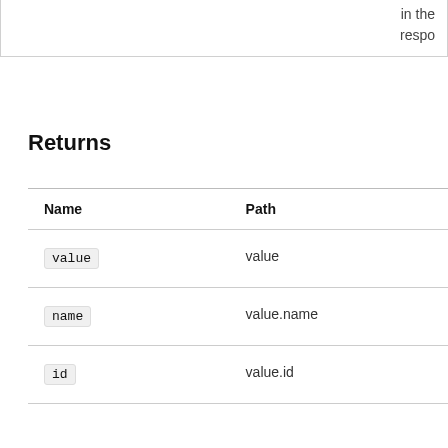in the
respo
Returns
| Name | Path |
| --- | --- |
| value | value |
| name | value.name |
| id | value.id |